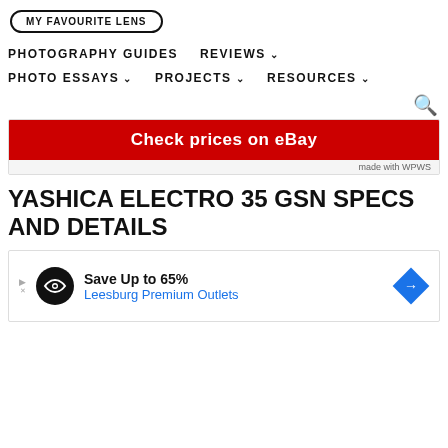MY FAVOURITE LENS
PHOTOGRAPHY GUIDES   REVIEWS   PHOTO ESSAYS   PROJECTS   RESOURCES
[Figure (screenshot): eBay affiliate button: Check prices on eBay (red background, white bold text), made with WPWS footer]
YASHICA ELECTRO 35 GSN SPECS AND DETAILS
[Figure (screenshot): Advertisement banner: Save Up to 65% Leesburg Premium Outlets with logo circle and blue diamond arrow]